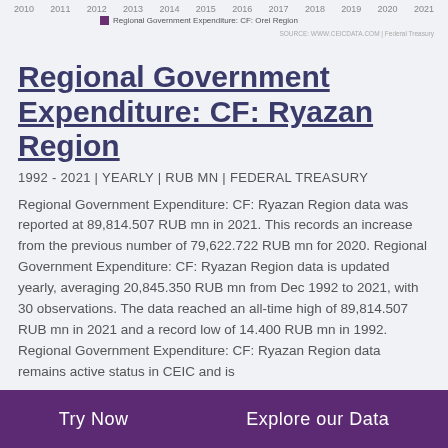[Figure (line-chart): Line chart showing regional government expenditure for CF: Orel Region from 2010 to 2021]
Regional Government Expenditure: CF: Ryazan Region
1992 - 2021 | YEARLY | RUB MN | FEDERAL TREASURY
Regional Government Expenditure: CF: Ryazan Region data was reported at 89,814.507 RUB mn in 2021. This records an increase from the previous number of 79,622.722 RUB mn for 2020. Regional Government Expenditure: CF: Ryazan Region data is updated yearly, averaging 20,845.350 RUB mn from Dec 1992 to 2021, with 30 observations. The data reached an all-time high of 89,814.507 RUB mn in 2021 and a record low of 14.400 RUB mn in 1992. Regional Government Expenditure: CF: Ryazan Region data remains active status in CEIC and is
Try Now    Explore our Data